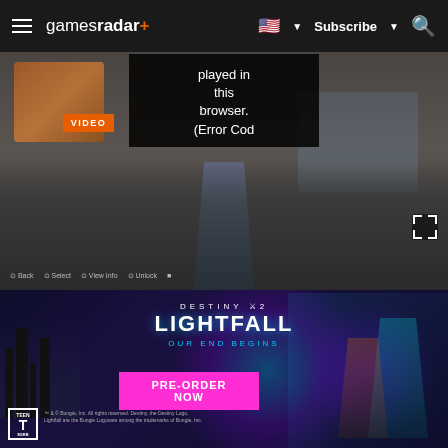gamesradar+ | Subscribe | Search
[Figure (screenshot): Video player showing an error message 'played in this browser. (Error Cod' with an orange VIDEO label and a game scene showing a character from behind with HUD controls at the bottom.]
First Finisher - Leaves the enemy with a parting gift; a live grenade.
Last Breath - Kills them with a point blank burst of
[Figure (photo): Destiny 2 Lightfall advertisement: 'OUR END BEGINS' with 'PRE-ORDER NOW' button. Shows armored characters and an alien figure with glowing effects. ESRB Teen rating shown.]